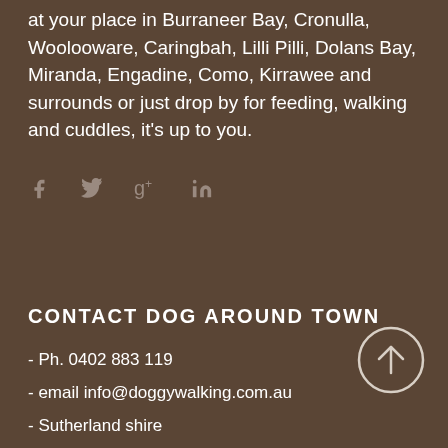at your place in Burraneer Bay, Cronulla, Woolooware, Caringbah, Lilli Pilli, Dolans Bay, Miranda, Engadine, Como, Kirrawee and surrounds or just drop by for feeding, walking and cuddles, it's up to you.
[Figure (infographic): Social media icons: Facebook, Twitter, Google+, LinkedIn in grey on brown background]
CONTACT DOG AROUND TOWN
- Ph. 0402 883 119
- email info@doggywalking.com.au
- Sutherland shire
[Figure (illustration): Circular up arrow button outlined in white/cream on brown background]